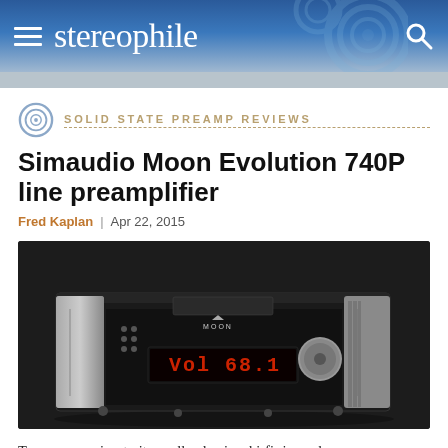stereophile
SOLID STATE PREAMP REVIEWS
Simaudio Moon Evolution 740P line preamplifier
Fred Kaplan | Apr 22, 2015
[Figure (photo): Photo of the Simaudio Moon Evolution 740P line preamplifier, a black and silver audio component with 'MOON' branding and a red LED display reading 'Vol 68.1']
Transparency is a trait we all value in a hi-fi rig, and